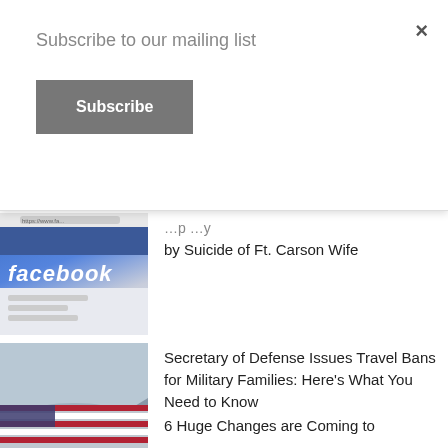Subscribe to our mailing list
Subscribe
×
[Figure (photo): Close-up of a Facebook login page on a browser screen]
by Suicide of Ft. Carson Wife
[Figure (photo): Military cargo plane (C-130) landing or taking off against a light sky]
Secretary of Defense Issues Travel Bans for Military Families: Here's What You Need to Know
[Figure (photo): Partial view of an American flag]
6 Huge Changes are Coming to